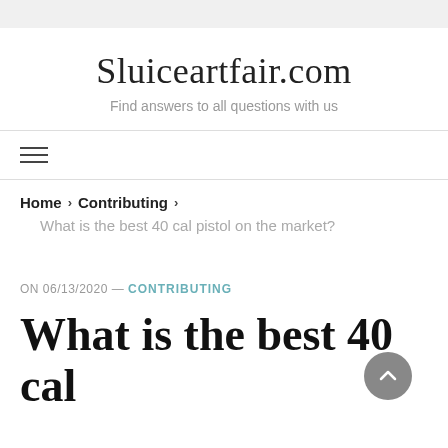Sluiceartfair.com
Find answers to all questions with us
Home › Contributing ›
What is the best 40 cal pistol on the market?
ON 06/13/2020 — CONTRIBUTING
What is the best 40 cal pistol on the market?